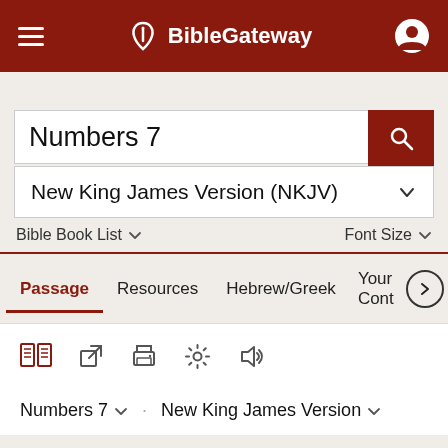BibleGateway
Numbers 7
New King James Version (NKJV)
Bible Book List  Font Size
Passage  Resources  Hebrew/Greek  Your Cont
Numbers 7  New King James Version